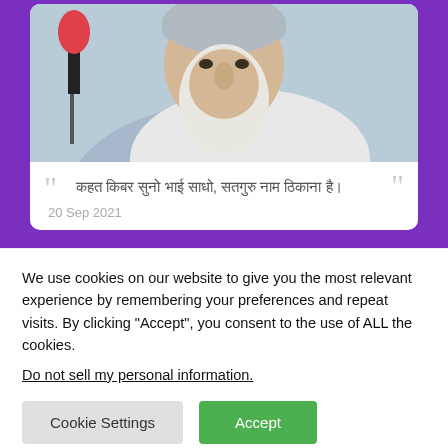[Figure (photo): Photo of an elderly bearded man with turban speaking into a pink microphone]
कहत किबर सुनो भाई साधो, सतगुरु नाम ठिकाना है।
20 Sep 2021
[Figure (photo): Photo of an elderly person wearing glasses and a light purple turban]
We use cookies on our website to give you the most relevant experience by remembering your preferences and repeat visits. By clicking "Accept", you consent to the use of ALL the cookies.
Do not sell my personal information.